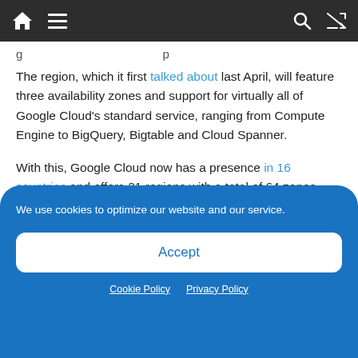[navigation bar with home, menu, search, shuffle icons]
The region, which it first talked about last April, will feature three availability zones and support for virtually all of Google Cloud's standard service, ranging from Compute Engine to BigQuery, Bigtable and Cloud Spanner.
With this, Google Cloud now has a presence in 16 countries and offers 21 regions with a total of 64 zones. The Seoul region (with the memorable
We use cookies to optimize our website and our service.
Accept
Cookie Policy  Privacy Policy